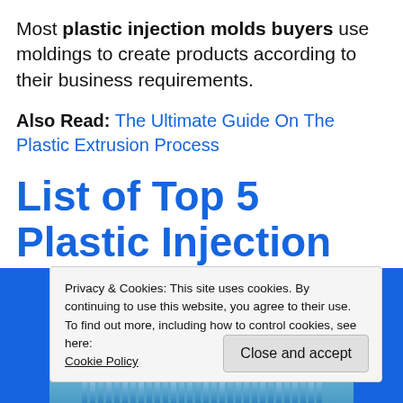Most plastic injection molds buyers use moldings to create products according to their business requirements.
Also Read: The Ultimate Guide On The Plastic Extrusion Process
List of Top 5 Plastic Injection Molds
Privacy & Cookies: This site uses cookies. By continuing to use this website, you agree to their use.
To find out more, including how to control cookies, see here:
Cookie Policy
Close and accept